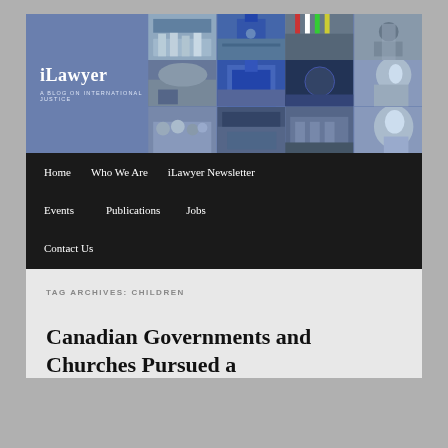iLawyer — A Blog on International Justice
[Figure (photo): iLawyer blog header banner with logo on blue background and photo grid showing international justice imagery including The Hague court building, UN building, armed soldiers, judge's gavel, courtroom scenes, and a barrister in wig]
Home   Who We Are   iLawyer Newsletter   Events   Publications   Jobs   Contact Us
TAG ARCHIVES: CHILDREN
Canadian Governments and Churches Pursued a